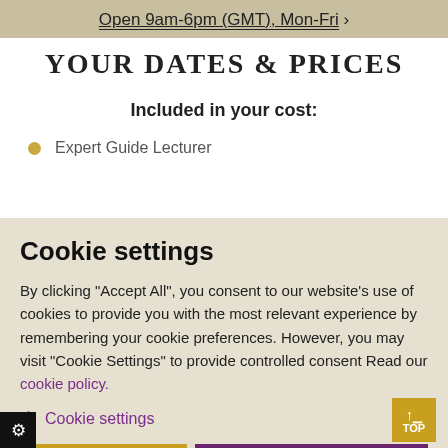Open 9am-6pm (GMT), Mon-Fri ›
YOUR DATES & PRICES
Included in your cost:
Expert Guide Lecturer
Cookie settings
By clicking "Accept All", you consent to our website's use of cookies to provide you with the most relevant experience by remembering your cookie preferences. However, you may visit "Cookie Settings" to provide controlled consent Read our cookie policy.
⚙ Cookie settings
REJECT ALL   ACCEPT ALL